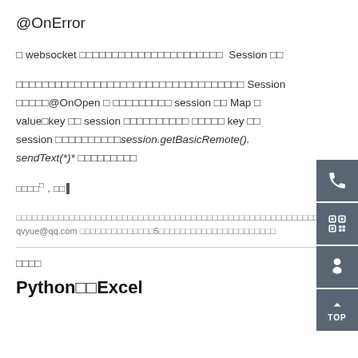@OnError
□ websocket □□□□□□□□□□□□□□□□□□□□□□  Session □□
□□□□□□□□□□□□□□□□□□□□□□□□□□□□□□□□□□□ Session □□□□□@OnOpen □ □□□□□□□□□ session □□ Map □ value□key □□ session □□□□□□□□□□ □□□□□ key □□ session □□□□□□□□□□session.getBasicRemote().sendText(*)* □□□□□□□□□
□□□□□，□□▌
□□□□□□□□□□□□□□□□□□□□□□□□□□□□□□□□□□□□□□□□□□□□□□□□□□□□□□□□□□□□□□□□□□□□□□□□□□□□□□□□□
qvyue@qq.com □□□□□□□□□□□□□□5□□□□□□□□□□□□□□□□□□□□□□
□□□□
Python□□Excel